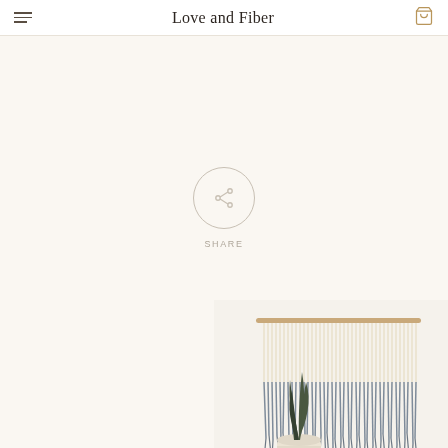Love and Fiber
[Figure (illustration): Share button icon — a circle with a share/network symbol inside, and the word SHARE below in spaced capital letters]
[Figure (photo): A macrame or fiber wall hanging in cream and navy/denim blue, hung on a wooden dowel above a wooden bench/table. A snake plant in a white woven basket sits on the bench. The wall hanging has vertical rope strands dip-dyed in dark blue on the lower half with fringe. The setting is a clean white room.]